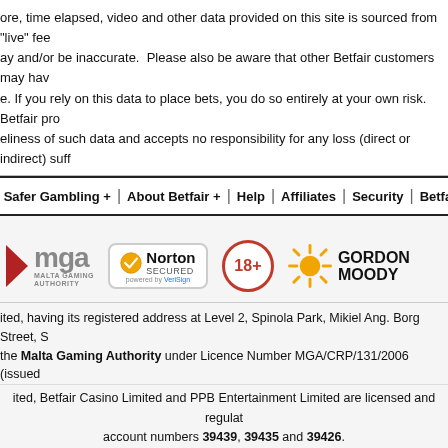ore, time elapsed, video and other data provided on this site is sourced from "live" fee ay and/or be inaccurate. Please also be aware that other Betfair customers may hav e. If you rely on this data to place bets, you do so entirely at your own risk. Betfair pro eliness of such data and accepts no responsibility for any loss (direct or indirect) suff
Safer Gambling + | About Betfair + | Help | Affiliates | Security | Betfair
[Figure (logo): MGA Malta Gaming Authority logo, Norton Secured by VeriSign badge, 18+ badge, Gordon Moody logo]
ited, having its registered address at Level 2, Spinola Park, Mikiel Ang. Borg Street, S the Malta Gaming Authority under Licence Number MGA/CRP/131/2006 (issued
ited, Betfair Casino Limited and PPB Entertainment Limited are licensed and regulat account numbers 39439, 39435 and 39426.
We value your privacy
If you 'Accept All Cookies' you are agreeing to the storing of cookies on your device to enhance site navigation, assist with our marketing efforts, and analysis of product usage.  See our Cookie Policy
Accept all cookies